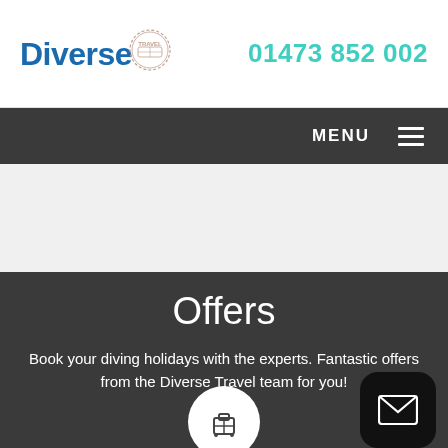[Figure (logo): Diverse Travel logo with blue text 'Diverse' and a circular travel stamp graphic]
01473 852 002
MENU ≡
Offers
Book your diving holidays with the experts. Fantastic offers from the Diverse Travel team for you!
[Figure (illustration): White circle with luggage/suitcase icon inside, partially visible at bottom]
[Figure (illustration): Black rounded square button with envelope/mail icon]